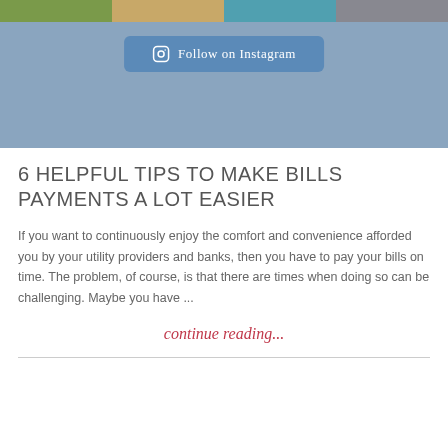[Figure (screenshot): Instagram widget section with a light blue-grey background showing a row of four small photos at the top and a 'Follow on Instagram' button]
6 HELPFUL TIPS TO MAKE BILLS PAYMENTS A LOT EASIER
If you want to continuously enjoy the comfort and convenience afforded you by your utility providers and banks, then you have to pay your bills on time. The problem, of course, is that there are times when doing so can be challenging. Maybe you have ...
continue reading...